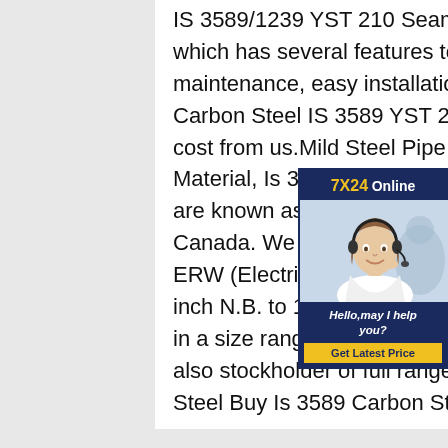IS 3589/1239 YST 210 Seamless Carbon Steel Pipes which has several features to offer such as low maintenance, easy installation, durable standard. Buy Carbon Steel IS 3589 YST 240 Seamless at afforable cost from us.Mild Steel Pipe Supplier in Canada,IS 3589 Material, Is 3589 Carbon Steel PipeSuperior Overseas are known as reliable and stockist of Mild Steel Pipes in Canada. We are supplier of Mild Steel pipe including ERW (Electric Resistance Welded) pipes / tubes in a size range of 1/2 inch N.B. to 14 inch N.B. and IS:1239 steel pipes / tubes in a size range of 1/2 inch N.B. to 6 inch N.B.We are also stockholder of full range Mild Steel ERW pipes ,Mild Steel Buy Is 3589 Carbon Steel Pipe
[Figure (infographic): Chat widget overlay with '7X24 Online' header in dark navy blue, photo of a woman with headset (customer service rep), 'Hello,may I help you?' text, and a 'Get Latest Price' yellow button.]